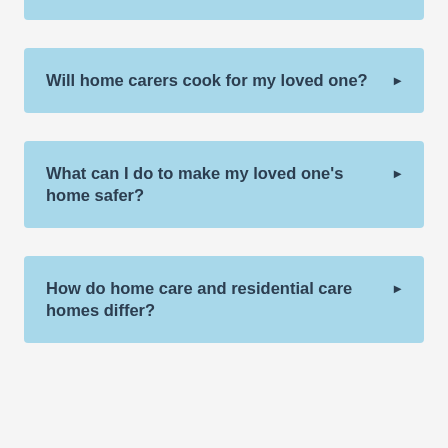Will home carers cook for my loved one?
What can I do to make my loved one's home safer?
How do home care and residential care homes differ?